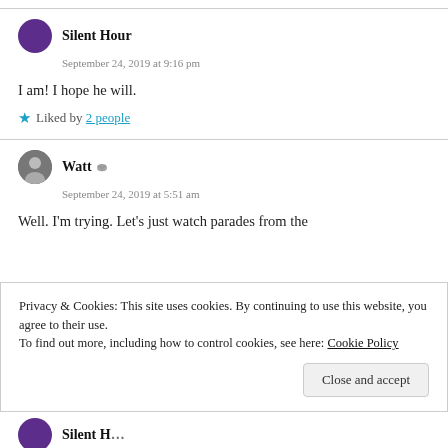Silent Hour
September 24, 2019 at 9:16 pm
I am! I hope he will.
★ Liked by 2 people
Watt
September 24, 2019 at 5:51 am
Well. I'm trying. Let's just watch parades from the
Privacy & Cookies: This site uses cookies. By continuing to use this website, you agree to their use.
To find out more, including how to control cookies, see here: Cookie Policy
Close and accept